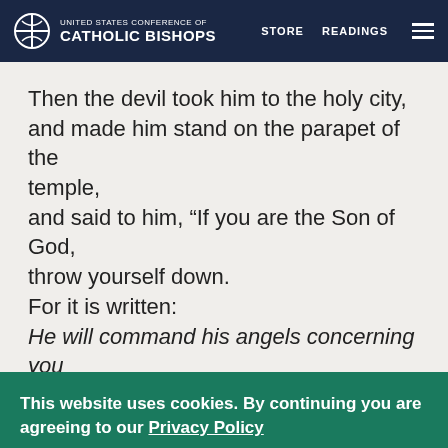UNITED STATES CONFERENCE OF CATHOLIC BISHOPS | STORE | READINGS
Then the devil took him to the holy city, and made him stand on the parapet of the temple,
and said to him, “If you are the Son of God, throw yourself down.
For it is written:
He will command his angels concerning you
This website uses cookies. By continuing you are agreeing to our Privacy Policy
CLOSE X